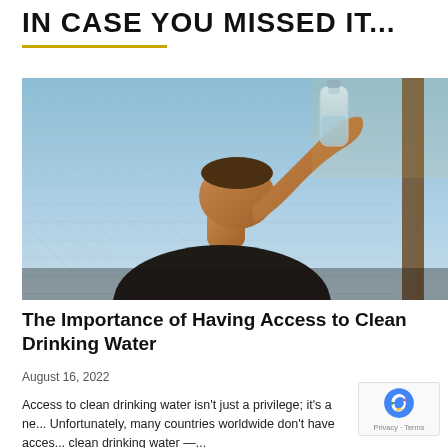IN CASE YOU MISSED IT...
[Figure (photo): A young boy tilting his head back, drinking from a clear plastic water bottle, standing in front of a chain-link fence with a wooden pole, blue sky background, warm sunlight.]
The Importance of Having Access to Clean Drinking Water
August 16, 2022
Access to clean drinking water isn't just a privilege; it's a ne... Unfortunately, many countries worldwide don't have acces... clean drinking water —...